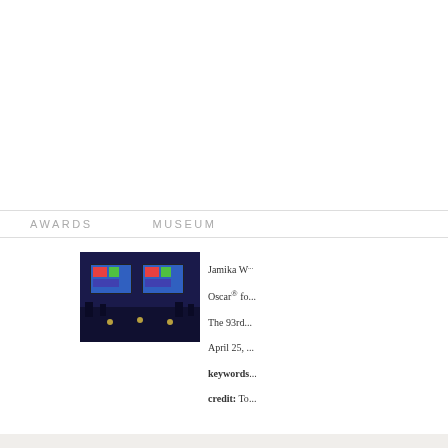AWARDS    MUSEUM
[Figure (photo): Stage photo showing two large screens displaying colorful graphics, dark blue lighting, equipment visible]
Jamika W... Oscar® fo... The 93rd... April 25, ...
keywords:
credit: To...
Filename:
Size: 8,64...
Log In fo...
Jamika W...
Oscar® fo...
The 93rd...
April 25, ...
[Figure (photo): Same stage photo showing two large screens with colorful graphics, dark blue lighting]
keywords: